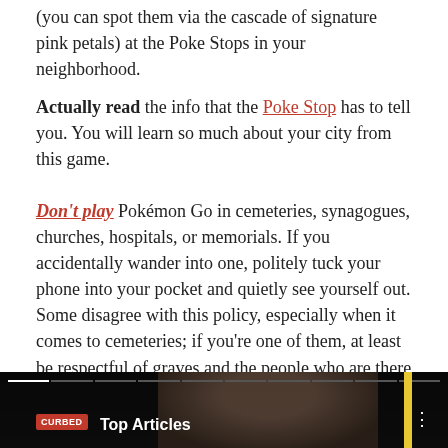(you can spot them via the cascade of signature pink petals) at the Poke Stops in your neighborhood.
Actually read the info that the Poke Stop has to tell you. You will learn so much about your city from this game.
Don't play Pokémon Go in cemeteries, synagogues, churches, hospitals, or memorials. If you accidentally wander into one, politely tuck your phone into your pocket and quietly see yourself out. Some disagree with this policy, especially when it comes to cemeteries; if you're one of them, at least be respectful of graves and the people who are there to visit them.
[Figure (screenshot): Video bar at bottom showing a 'Top Articles' section with Curbed logo, a person's face in background, progress bar segments at top, and a yellow accent bar on the right.]